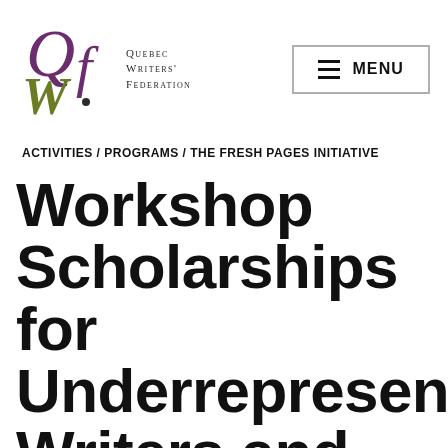[Figure (logo): Quebec Writers' Federation logo with stylized QWF letters in olive green and purple]
≡ MENU
ACTIVITIES / PROGRAMS / THE FRESH PAGES INITIATIVE
Workshop Scholarships for Underrepresented Writers and